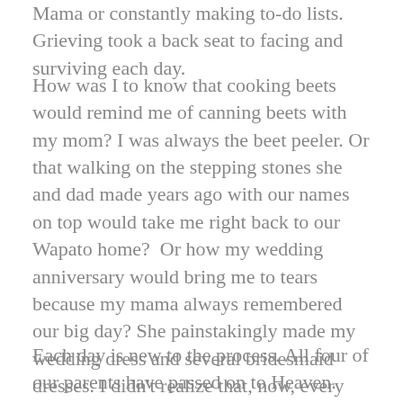Mama or constantly making to-do lists. Grieving took a back seat to facing and surviving each day.
How was I to know that cooking beets would remind me of canning beets with my mom? I was always the beet peeler. Or that walking on the stepping stones she and dad made years ago with our names on top would take me right back to our Wapato home?  Or how my wedding anniversary would bring me to tears because my mama always remembered our big day? She painstakingly made my wedding dress and several bridesmaid dresses. I didn't realize that, now, every time I drive to the apartment of my grands, I would have to pass the Cottage where she passed away. The memories keep her close to my heart, but that heart is full of aches and pains.
Each day is new to the process. All four of our parents have passed on to Heaven. They are having a great time. But that doesn't stop me from missing them. We are now the oldest and the NET generation in charge of things.